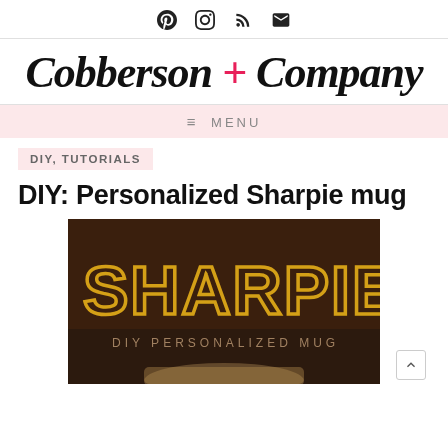Social icons: Pinterest, Instagram, RSS, Email
Cobberson + Company
≡ MENU
DIY, TUTORIALS
DIY: Personalized Sharpie mug
[Figure (photo): Blog post featured image showing the text SHARPIE in large gold letters with DIY PERSONALIZED MUG subtitle on a dark brown background, with a mug visible at the bottom edge.]